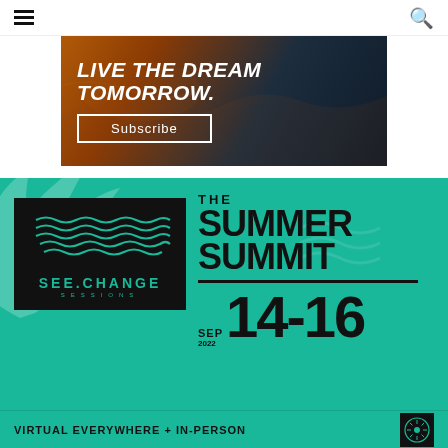[Figure (screenshot): Navigation bar with hamburger menu icon on left and search icon on right]
[Figure (infographic): Advertisement banner with orange/dark ocean background image showing text 'LIVE THE DREAM TOMORROW.' and a Subscribe button]
[Figure (infographic): Teal/green event promotional banner for SEE.CHANGE SESSIONS 'THE SUMMER SUMMIT' SEP 2022 14-16, VIRTUAL EVERYWHERE + IN-PERSON, with palm leaf decorative background and black logo box]
VIRTUAL EVERYWHERE + IN-PERSON